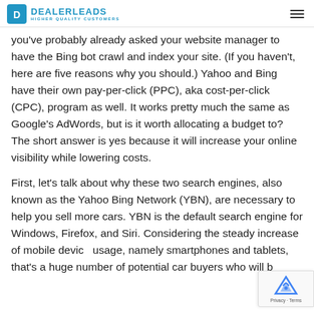DEALERLEADS HIGHER QUALITY CUSTOMERS
you've probably already asked your website manager to have the Bing bot crawl and index your site. (If you haven't, here are five reasons why you should.) Yahoo and Bing have their own pay-per-click (PPC), aka cost-per-click (CPC), program as well. It works pretty much the same as Google's AdWords, but is it worth allocating a budget to? The short answer is yes because it will increase your online visibility while lowering costs.
First, let's talk about why these two search engines, also known as the Yahoo Bing Network (YBN), are necessary to help you sell more cars. YBN is the default search engine for Windows, Firefox, and Siri. Considering the steady increase of mobile device usage, namely smartphones and tablets, that's a huge number of potential car buyers who will be